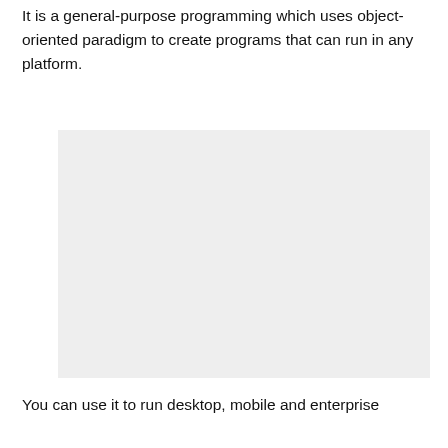It is a general-purpose programming which uses object-oriented paradigm to create programs that can run in any platform.
[Figure (illustration): A large light gray rectangular placeholder image area.]
You can use it to run desktop, mobile and enterprise